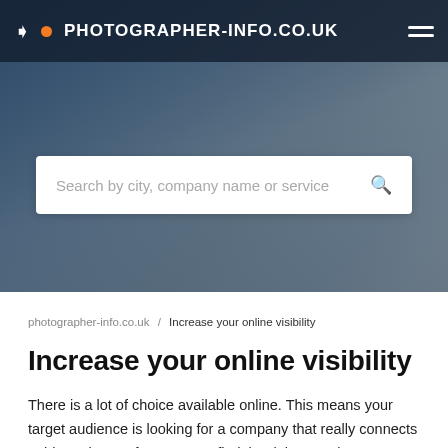PHOTOGRAPHER-INFO.CO.UK
[Figure (screenshot): Search bar with placeholder text 'Search by city, company name or service' and a search icon on a blurred dark photo background]
photographer-info.co.uk / Increase your online visibility
Increase your online visibility
There is a lot of choice available online. This means your target audience is looking for a company that really connects to his- or her preferences. To find the right one, they want to compare potential companies based on their offerings or prices. To give yourself a better competitive advantage in the market, it is important that potential customers can easily find your business online. However, online findability is more than just your position in the results of search engines like Google. For example, you